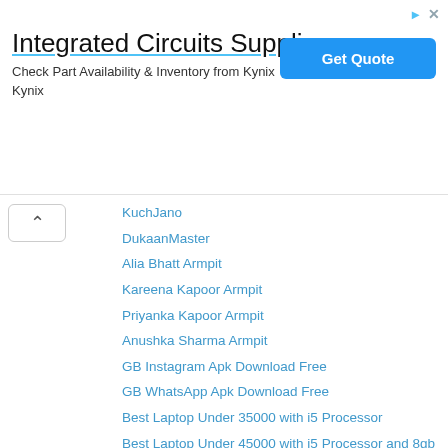[Figure (other): Advertisement banner for Integrated Circuits Supplier - Kynix. Title: 'Integrated Circuits Supplier'. Subtitle: 'Check Part Availability & Inventory from Kynix Kynix'. Button: 'Get Quote'.]
KuchJano
DukaanMaster
Alia Bhatt Armpit
Kareena Kapoor Armpit
Priyanka Kapoor Armpit
Anushka Sharma Armpit
GB Instagram Apk Download Free
GB WhatsApp Apk Download Free
Best Laptop Under 35000 with i5 Processor
Best Laptop Under 45000 with i5 Processor and 8gb Ram
Reply
Sahib Khan  February 5, 2019 at 9:38 PM
Smore
Justpaste
Wallpside